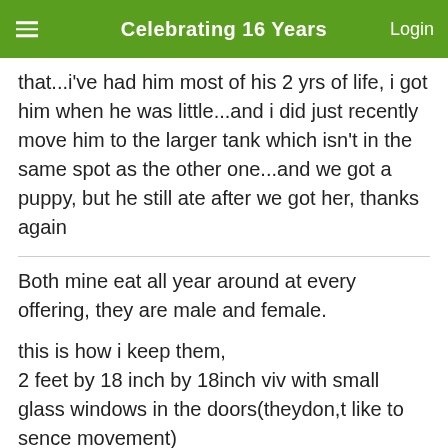Celebrating 16 Years
that...i've had him most of his 2 yrs of life, i got him when he was little...and i did just recently move him to the larger tank which isn't in the same spot as the other one...and we got a puppy, but he still ate after we got her, thanks again
Both mine eat all year around at every offering, they are male and female.
this is how i keep them,
2 feet by 18 inch by 18inch viv with small glass windows in the doors(theydon,t like to sence movement)